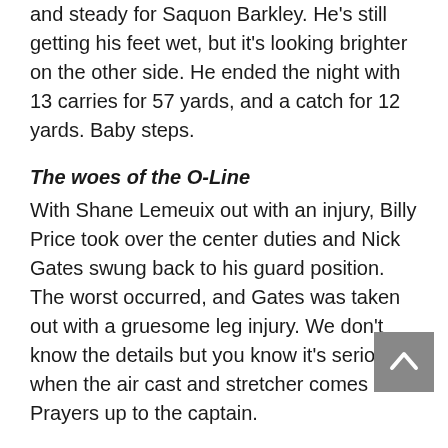and steady for Saquon Barkley. He's still getting his feet wet, but it's looking brighter on the other side. He ended the night with 13 carries for 57 yards, and a catch for 12 yards. Baby steps.
The woes of the O-Line
With Shane Lemeuix out with an injury, Billy Price took over the center duties and Nick Gates swung back to his guard position. The worst occurred, and Gates was taken out with a gruesome leg injury. We don't know the details but you know it's serious when the air cast and stretcher comes out. Prayers up to the captain.